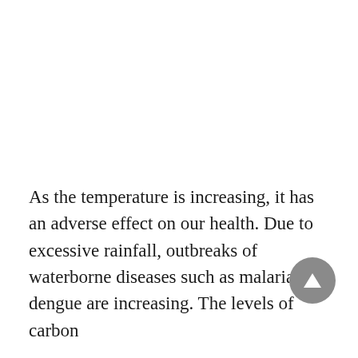As the temperature is increasing, it has an adverse effect on our health. Due to excessive rainfall, outbreaks of waterborne diseases such as malaria and dengue are increasing. The levels of carbon